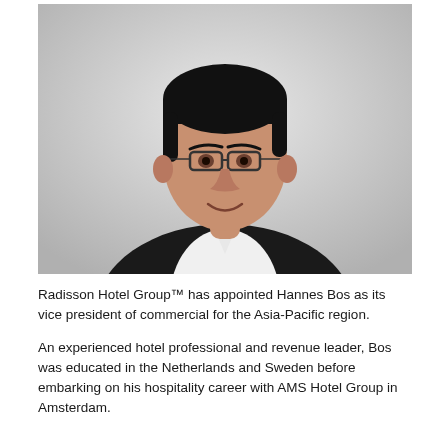[Figure (photo): Professional headshot of Hannes Bos, a man wearing glasses, a white dress shirt, and a dark blazer, posed against a light grey background.]
Radisson Hotel Group™ has appointed Hannes Bos as its vice president of commercial for the Asia-Pacific region.
An experienced hotel professional and revenue leader, Bos was educated in the Netherlands and Sweden before embarking on his hospitality career with AMS Hotel Group in Amsterdam.